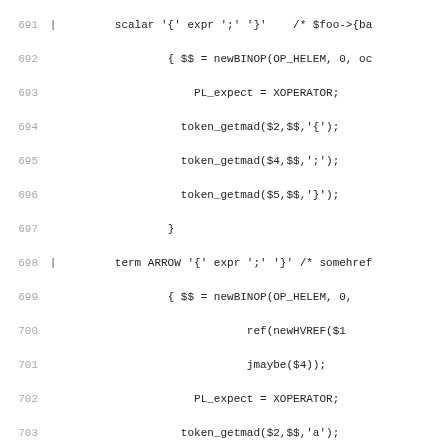[Figure (screenshot): Source code listing showing lines 691-722 of a C/parser grammar file with line numbers, pipe characters indicating grammar rules, and code implementing BINOP/UNOP operations with token_getmad calls.]